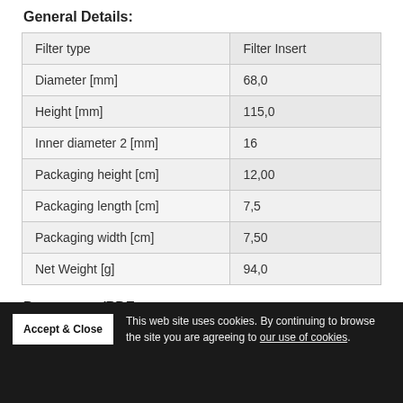General Details:
|  |  |
| --- | --- |
| Filter type | Filter Insert |
| Diameter [mm] | 68,0 |
| Height [mm] | 115,0 |
| Inner diameter 2 [mm] | 16 |
| Packaging height [cm] | 12,00 |
| Packaging length [cm] | 7,5 |
| Packaging width [cm] | 7,50 |
| Net Weight [g] | 94,0 |
Documents/PDFs:
Service Information
Service Information
Additional Images: